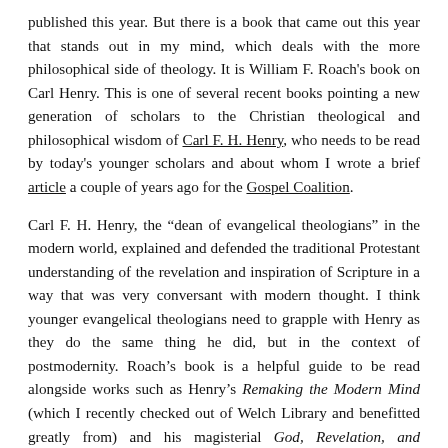published this year. But there is a book that came out this year that stands out in my mind, which deals with the more philosophical side of theology. It is William F. Roach's book on Carl Henry. This is one of several recent books pointing a new generation of scholars to the Christian theological and philosophical wisdom of Carl F. H. Henry, who needs to be read by today's younger scholars and about whom I wrote a brief article a couple of years ago for the Gospel Coalition.
Carl F. H. Henry, the “dean of evangelical theologians” in the modern world, explained and defended the traditional Protestant understanding of the revelation and inspiration of Scripture in a way that was very conversant with modern thought. I think younger evangelical theologians need to grapple with Henry as they do the same thing he did, but in the context of postmodernity. Roach’s book is a helpful guide to be read alongside works such as Henry’s Remaking the Modern Mind (which I recently checked out of Welch Library and benefitted greatly from) and his magisterial God, Revelation, and Authority.